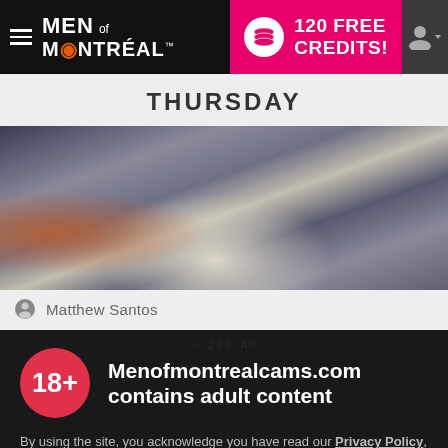MEN OF MONTRÉAL  |  120 FREE CREDITS!
THURSDAY
[Figure (photo): Close-up photo of a person wearing ripped jeans]
Matthew Santos
Menofmontrealcams.com contains adult content
By using the site, you acknowledge you have read our Privacy Policy, and agree to our Terms and Conditions.
We use cookies to optimize your experience, analyze traffic, and deliver more personalized service. To learn more, please see our Privacy Policy.
I AGREE